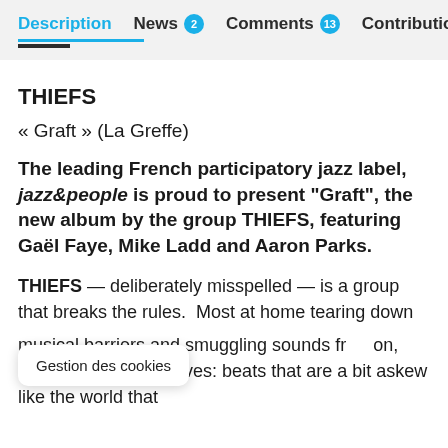Description  News 2  Comments 13  Contributions 1…
THIEFS
« Graft » (La Greffe)
The leading French participatory jazz label, jazz&people is proud to present "Graft", the new album by the group THIEFS, featuring Gaël Faye, Mike Ladd and Aaron Parks.
THIEFS — deliberately misspelled — is a group that breaks the rules.  Most at home tearing down musical barriers and smuggling sounds fr… …on, this trio deals in grooves: beats that are a bit askew like the world that
Gestion des cookies